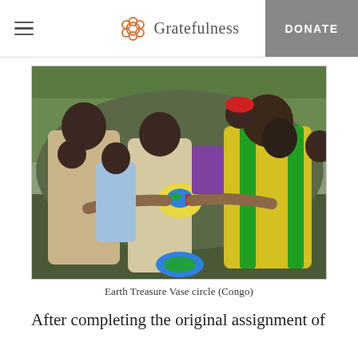Gratefulness | DONATE
[Figure (photo): Group of people in outdoor setting in Congo passing or holding an Earth Treasure Vase together. Several men are visible, one in a yellow and green striped jacket, another in a beige checkered shirt, and others standing around them. Trees visible in the background.]
Earth Treasure Vase circle (Congo)
After completing the original assignment of